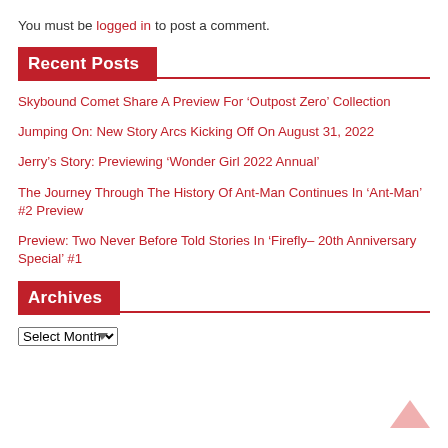You must be logged in to post a comment.
Recent Posts
Skybound Comet Share A Preview For ‘Outpost Zero’ Collection
Jumping On: New Story Arcs Kicking Off On August 31, 2022
Jerry’s Story: Previewing ‘Wonder Girl 2022 Annual’
The Journey Through The History Of Ant-Man Continues In ‘Ant-Man’ #2 Preview
Preview: Two Never Before Told Stories In ‘Firefly– 20th Anniversary Special’ #1
Archives
Select Month